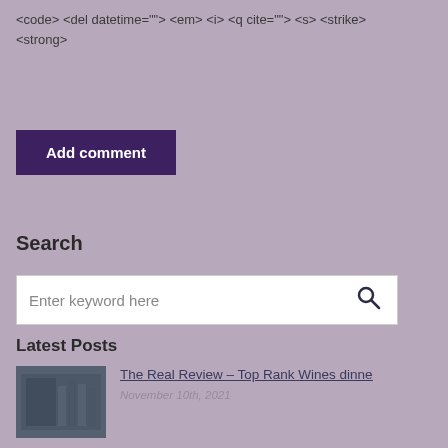<code> <del datetime=""> <em> <i> <q cite=""> <s> <strike> <strong>
Add comment
Search
Enter keyword here
Latest Posts
The Real Review – Top Rank Wines dinne
November 10th, 2021
4BC Sunday Tipple: Wine Adventure with M
August 27th, 2021
Vintage flies: Queensland's South
January 5th, 2021